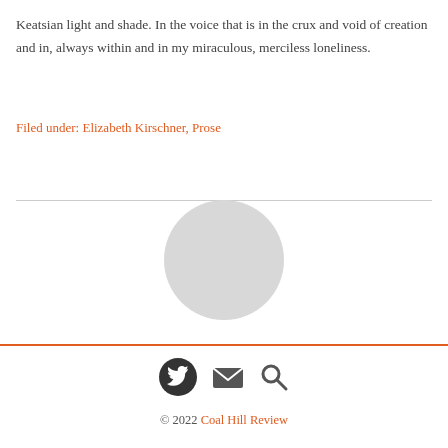Keatsian light and shade. In the voice that is in the crux and void of creation and in, always within and in my miraculous, merciless loneliness.
Filed under: Elizabeth Kirschner, Prose
[Figure (photo): Circular avatar/profile photo placeholder]
© 2022 Coal Hill Review